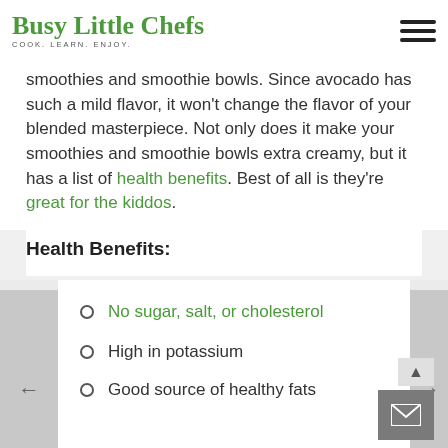Busy Little Chefs — COOK. LEARN. ENJOY.
smoothies and smoothie bowls. Since avocado has such a mild flavor, it won't change the flavor of your blended masterpiece. Not only does it make your smoothies and smoothie bowls extra creamy, but it has a list of health benefits. Best of all is they're great for the kiddos.
Health Benefits:
No sugar, salt, or cholesterol
High in potassium
Good source of healthy fats